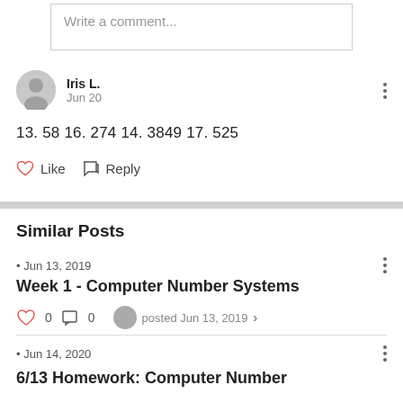Write a comment...
Iris L.
Jun 20
13. 58 16. 274 14. 3849 17. 525
Like   Reply
Similar Posts
Jun 13, 2019
Week 1 - Computer Number Systems
0   0   posted Jun 13, 2019
Jun 14, 2020
6/13 Homework: Computer Number